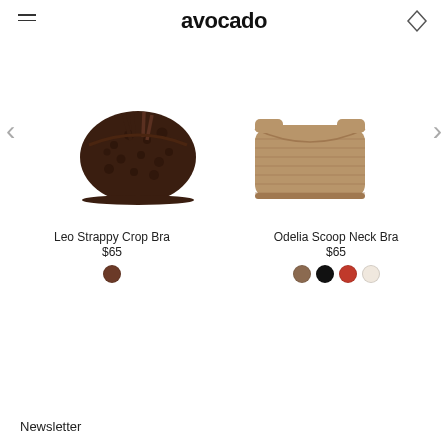avocado
[Figure (photo): Leo Strappy Crop Bra - dark brown leopard print strappy crop bra top]
[Figure (photo): Odelia Scoop Neck Bra - tan/camel ribbed scoop neck bra top]
Leo Strappy Crop Bra
$65
Odelia Scoop Neck Bra
$65
Newsletter